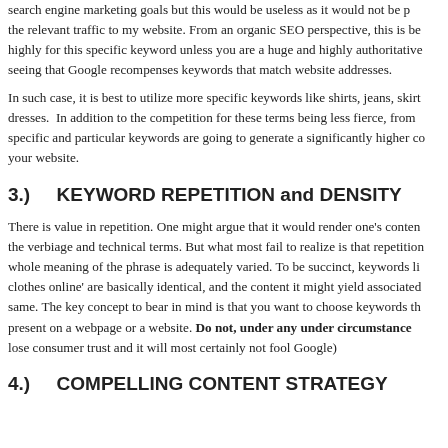search engine marketing goals but this would be useless as it would not be providing the relevant traffic to my website. From an organic SEO perspective, this is because highly for this specific keyword unless you are a huge and highly authoritative site, seeing that Google recompenses keywords that match website addresses.
In such case, it is best to utilize more specific keywords like shirts, jeans, skirts, dresses. In addition to the competition for these terms being less fierce, from specific and particular keywords are going to generate a significantly higher conversion for your website.
3.)    KEYWORD REPETITION and DENSITY
There is value in repetition. One might argue that it would render one's content the verbiage and technical terms. But what most fail to realize is that repetition whole meaning of the phrase is adequately varied. To be succinct, keywords like clothes online' are basically identical, and the content it might yield associated same. The key concept to bear in mind is that you want to choose keywords that present on a webpage or a website. Do not, under any under circumstance lose consumer trust and it will most certainly not fool Google)
4.)    COMPELLING CONTENT STRATEGY